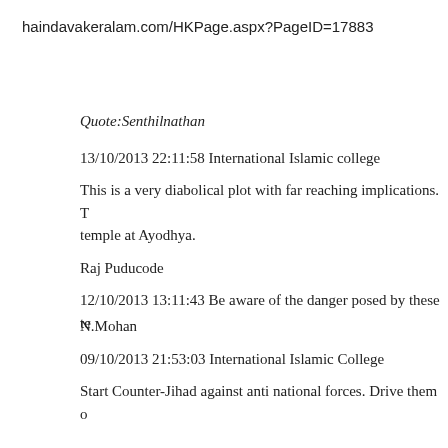haindavakeralam.com/HKPage.aspx?PageID=17883
Quote:Senthilnathan
13/10/2013 22:11:58 International Islamic college
This is a very diabolical plot with far reaching implications. T temple at Ayodhya.
Raj Puducode
12/10/2013 13:11:43 Be aware of the danger posed by these te
N.Mohan
09/10/2013 21:53:03 International Islamic College
Start Counter-Jihad against anti national forces. Drive them o